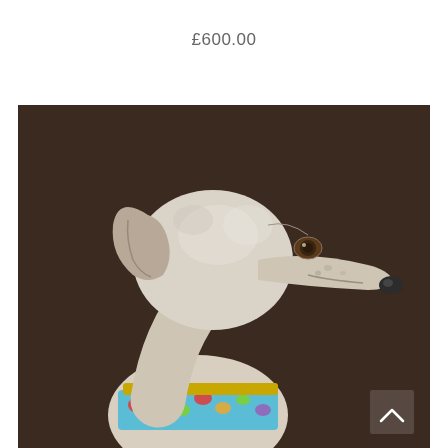£600.00
[Figure (illustration): Painting/portrait of a greyhound dog with a white and grey mottled coat, facing right in three-quarter profile, wearing a colorful floral bandana/scarf and a yellow collar, set against a dark brown background. The dog has a long slender snout, folded ears, and a calm expression.]